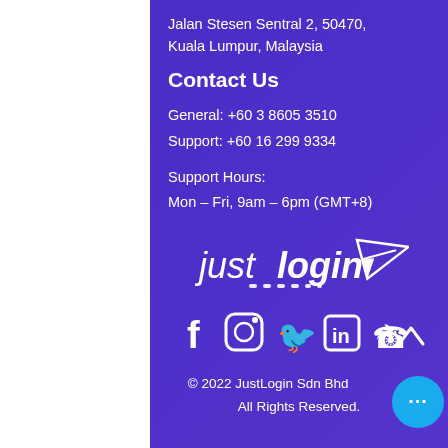Jalan Stesen Sentral 2, 50470, Kuala Lumpur, Malaysia
Contact Us
General: +60 3 8605 3510
Support: +60 16 299 9334
Support Hours:
Mon – Fri, 9am – 6pm (GMT+8)
[Figure (logo): JustLogin logo with paper airplane icon]
[Figure (infographic): Social media icons: Facebook, Instagram, Twitter, LinkedIn, and another icon]
© 2022 JustLogin Sdn Bhd
All Rights Reserved.